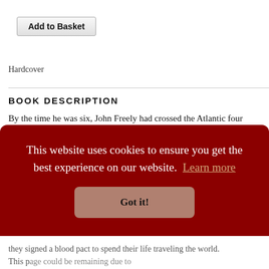Add to Basket
Hardcover
BOOK DESCRIPTION
By the time he was six, John Freely had crossed the Atlantic four times. His childhood was spent on the mean streets of 1930s Brooklyn, where he scavenged for junk to sell and borrowed money for books; his first love being Homer’s Odyssey. He was
This website uses cookies to ensure you get the best experience on our website. Learn more
Got it!
they signed a blood pact to spend their life traveling the world. This page could be remaining due to